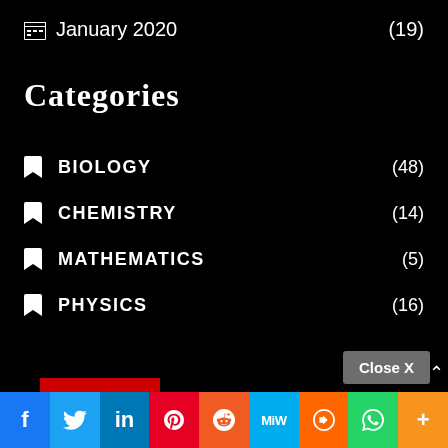January 2020 (19)
Categories
BIOLOGY (48)
CHEMISTRY (14)
MATHEMATICS (5)
PHYSICS (16)